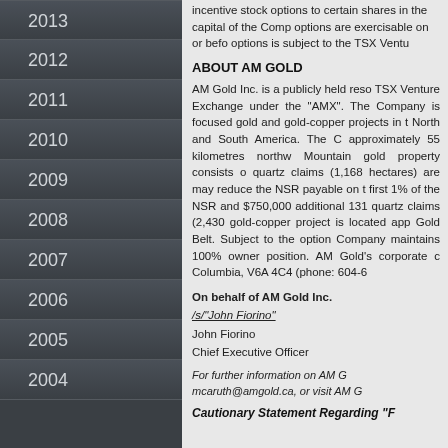2013
2012
2011
2010
2009
2008
2007
2006
2005
2004
incentive stock options to certain shares in the capital of the Company. options are exercisable on or before options is subject to the TSX Ventu
ABOUT AM GOLD
AM Gold Inc. is a publicly held resource company listed on the TSX Venture Exchange under the trading symbol "AMX". The Company is focused on acquiring and developing gold and gold-copper projects in the Americas, including North and South America. The Company owns approximately 55 kilometres northwest of Vernon, BC. Mountain gold property consists of quartz claims (1,168 hectares) are may reduce the NSR payable on the first 1% of the NSR and $750,000 additional 131 quartz claims (2,430 gold-copper project is located app Gold Belt. Subject to the option Company maintains 100% owner position. AM Gold's corporate o Columbia, V6A 4C4 (phone: 604-6
On behalf of AM Gold Inc.
/s/"John Fiorino"
John Fiorino
Chief Executive Officer
For further information on AM Gold, contact mcaruth@amgold.ca, or visit AM G
Cautionary Statement Regarding "F